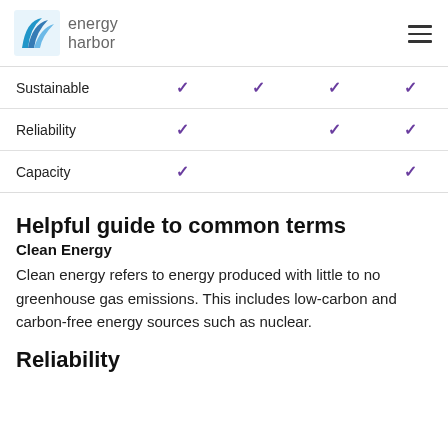energy harbor
|  |  |  |  |  |
| --- | --- | --- | --- | --- |
| Sustainable | ✓ | ✓ | ✓ | ✓ |
| Reliability | ✓ |  | ✓ | ✓ |
| Capacity | ✓ |  |  | ✓ |
Helpful guide to common terms
Clean Energy
Clean energy refers to energy produced with little to no greenhouse gas emissions. This includes low-carbon and carbon-free energy sources such as nuclear.
Reliability